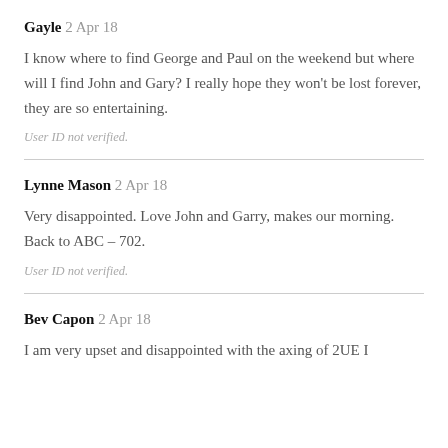Gayle 2 Apr 18
I know where to find George and Paul on the weekend but where will I find John and Gary? I really hope they won't be lost forever, they are so entertaining.
User ID not verified.
Lynne Mason 2 Apr 18
Very disappointed. Love John and Garry, makes our morning. Back to ABC – 702.
User ID not verified.
Bev Capon 2 Apr 18
I am very upset and disappointed with the axing of 2UE I